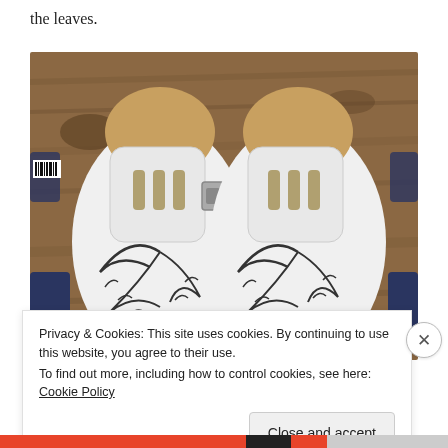the leaves.
[Figure (photo): Top-down view of a pair of white Birkenstock-style sandals with black leaf/branch pattern painted on the footbed, placed on a rustic wooden surface. Shoe trees (wooden forms) are inserted into the sandals. The sandals have navy blue straps visible on the sides. A barcode label is visible on the left sandal.]
Privacy & Cookies: This site uses cookies. By continuing to use this website, you agree to their use.
To find out more, including how to control cookies, see here: Cookie Policy
Close and accept